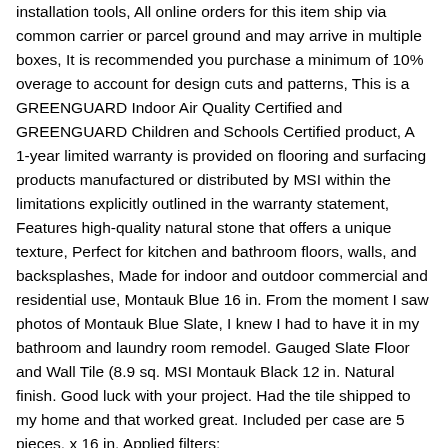installation tools, All online orders for this item ship via common carrier or parcel ground and may arrive in multiple boxes, It is recommended you purchase a minimum of 10% overage to account for design cuts and patterns, This is a GREENGUARD Indoor Air Quality Certified and GREENGUARD Children and Schools Certified product, A 1-year limited warranty is provided on flooring and surfacing products manufactured or distributed by MSI within the limitations explicitly outlined in the warranty statement, Features high-quality natural stone that offers a unique texture, Perfect for kitchen and bathroom floors, walls, and backsplashes, Made for indoor and outdoor commercial and residential use, Montauk Blue 16 in. From the moment I saw photos of Montauk Blue Slate, I knew I had to have it in my bathroom and laundry room remodel. Gauged Slate Floor and Wall Tile (8.9 sq. MSI Montauk Black 12 in. Natural finish. Good luck with your project. Had the tile shipped to my home and that worked great. Included per case are 5 pieces. x 16 in. Applied filters: